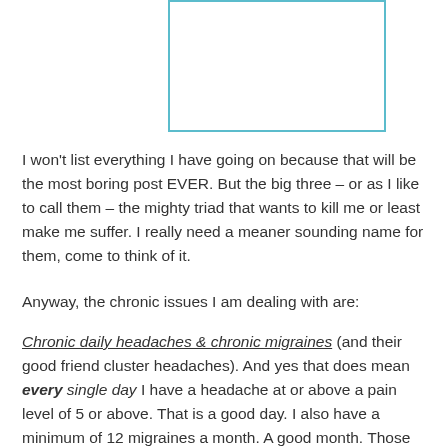[Figure (other): Empty rectangular box with teal/cyan border, likely placeholder for an image]
I won't list everything I have going on because that will be the most boring post EVER. But the big three – or as I like to call them – the mighty triad that wants to kill me or least make me suffer. I really need a meaner sounding name for them, come to think of it.
Anyway, the chronic issues I am dealing with are:
Chronic daily headaches & chronic migraines (and their good friend cluster headaches). And yes that does mean every single day I have a headache at or above a pain level of 5 or above. That is a good day. I also have a minimum of 12 migraines a month. A good month. Those are just examples. It can be worse. It is rarely better unless I